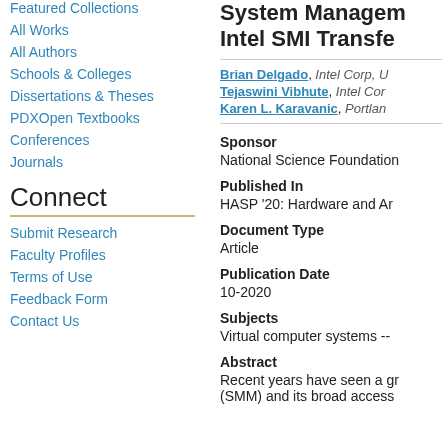Featured Collections
All Works
All Authors
Schools & Colleges
Dissertations & Theses
PDXOpen Textbooks
Conferences
Journals
Connect
Submit Research
Faculty Profiles
Terms of Use
Feedback Form
Contact Us
System Management Mode / Intel SMI Transfer
Brian Delgado, Intel Corp, U
Tejaswini Vibhute, Intel Cor
Karen L. Karavanic, Portlan
Sponsor
National Science Foundation
Published In
HASP '20: Hardware and Ar
Document Type
Article
Publication Date
10-2020
Subjects
Virtual computer systems --
Abstract
Recent years have seen a gr
(SMM) and its broad access